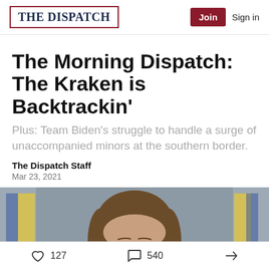THE DISPATCH | Join | Sign in
The Morning Dispatch: The Kraken is Backtrackin'
Plus: Team Biden's struggle to handle a surge of unaccompanied minors at the southern border.
The Dispatch Staff
Mar 23, 2021
[Figure (photo): Photo of a woman with brown hair, partially visible, in front of an American flag background]
127 likes  540 comments  share